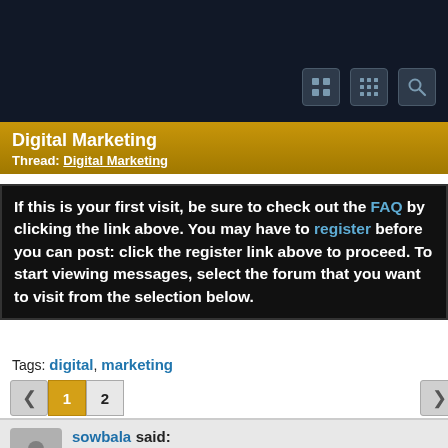Digital Marketing
Thread: Digital Marketing
If this is your first visit, be sure to check out the FAQ by clicking the link above. You may have to register before you can post: click the register link above to proceed. To start viewing messages, select the forum that you want to visit from the selection below.
Tags: digital, marketing
1 2
sowbala said:
09-14-2021 09:16 AM